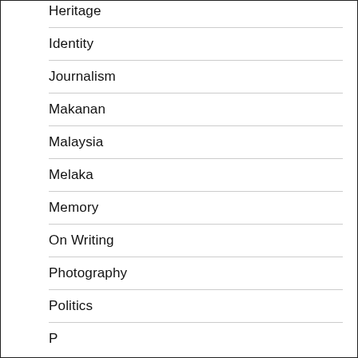Heritage
Identity
Journalism
Makanan
Malaysia
Melaka
Memory
On Writing
Photography
Politics
P…